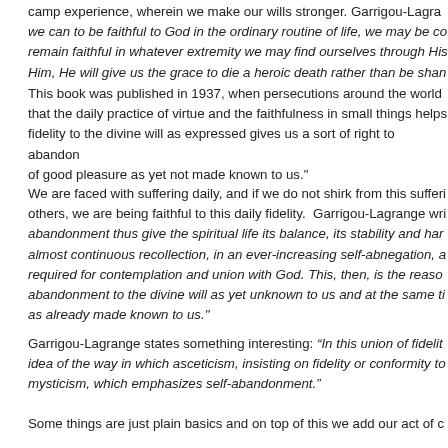camp experience, wherein we make our wills stronger. Garrigou-Lagrange writes, "if we can to be faithful to God in the ordinary routine of life, we may be confident that He will remain faithful in whatever extremity we may find ourselves through His grace, faithful to Him, He will give us the grace to die a heroic death rather than be sham..."
This book was published in 1937, when persecutions around the world... that the daily practice of virtue and the faithfulness in small things helps... fidelity to the divine will as expressed gives us a sort of right to abandon... of good pleasure as yet not made known to us."
We are faced with suffering daily, and if we do not shirk from this suffering for others, we are being faithful to this daily fidelity. Garrigou-Lagrange writes... abandonment thus give the spiritual life its balance, its stability and harmony in almost continuous recollection, in an ever-increasing self-abnegation, a... required for contemplation and union with God. This, then, is the reason... abandonment to the divine will as yet unknown to us and at the same time... as already made known to us."
Garrigou-Lagrange states something interesting: “In this union of fidelity... idea of the way in which asceticism, insisting on fidelity or conformity to... mysticism, which emphasizes self-abandonment.”
Some things are just plain basics and on top of this we add our act of c...